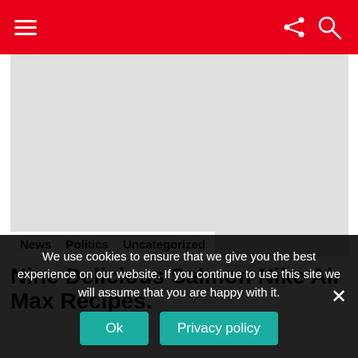≡  [share icon]  [search icon]
[Figure (photo): Large gray placeholder image area]
News  ·  Politics  ·  Uncategorized
Nine Delicious Salmon Nike Air Max Recipes.
We use cookies to ensure that we give you the best experience on our website. If you continue to use this site we will assume that you are happy with it.
Ok    Privacy policy